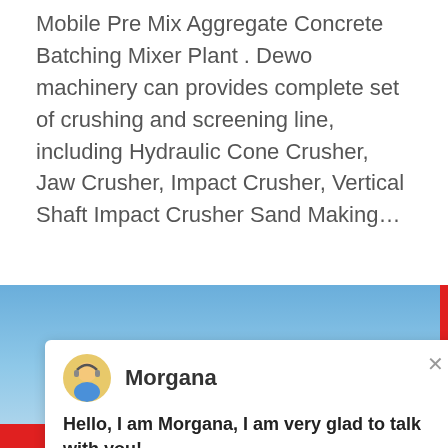Mobile Pre Mix Aggregate Concrete Batching Mixer Plant . Dewo machinery can provides complete set of crushing and screening line, including Hydraulic Cone Crusher, Jaw Crusher, Impact Crusher, Vertical Shaft Impact Crusher Sand Making…
[Figure (screenshot): Screenshot of a live-chat popup overlay on a construction machinery website. The popup shows an avatar of a support agent named 'Morgana' with message 'Hello, I am Morgana, I am very glad to talk with you!' Over a background showing industrial crushing/screening equipment imagery and a photo of a female customer service agent with headset. Buttons show 'More', 'Online C', 'Chat Online', and a 'Need questions & suggestion? Chat Now' panel with notification badge showing '1'.]